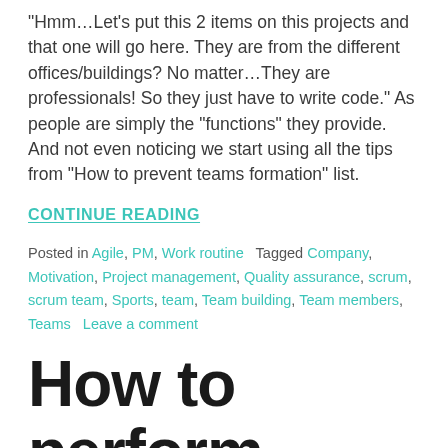“Hmm…Let’s put this 2 items on this projects and that one will go here. They are from the different offices/buildings? No matter…They are professionals! So they just have to write code.” As people are simply the “functions” they provide. And not even noticing we start using all the tips from “How to prevent teams formation” list.
CONTINUE READING
Posted in Agile, PM, Work routine   Tagged Company, Motivation, Project management, Quality assurance, scrum, scrum team, Sports, team, Team building, Team members, Teams   Leave a comment
How to perform